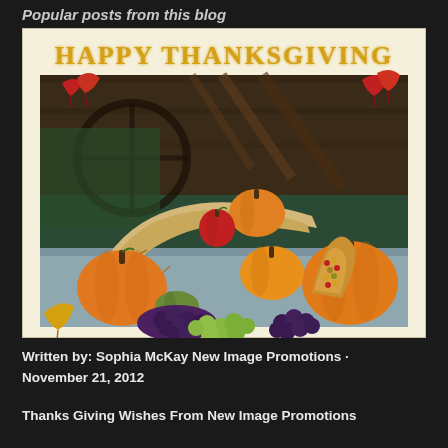Popular posts from this blog
[Figure (illustration): A Happy Thanksgiving greeting card image featuring golden text 'HAPPY THANKSGIVING' on a cream background, with a photograph of a cornucopia filled with pumpkins, squash, grapes, corn, and autumn leaves against a dark wooden barn background.]
Written by: Sophia McKay New Image Promotions · November 21, 2012
Thanks Giving Wishes From New Image Promotions